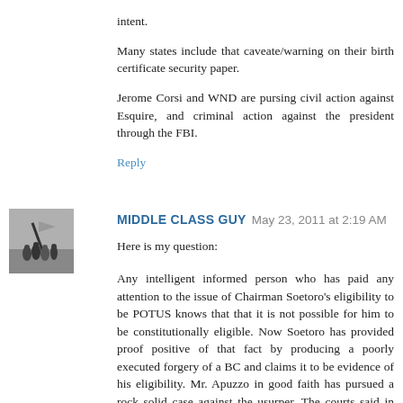intent.
Many states include that caveate/warning on their birth certificate security paper.
Jerome Corsi and WND are pursing civil action against Esquire, and criminal action against the president through the FBI.
Reply
[Figure (photo): Small black and white photo of soldiers raising a flag (similar to Iwo Jima), used as avatar for commenter MIDDLE CLASS GUY]
MIDDLE CLASS GUY  May 23, 2011 at 2:19 AM
Here is my question:
Any intelligent informed person who has paid any attention to the issue of Chairman Soetoro's eligibility to be POTUS knows that that it is not possible for him to be constitutionally eligible. Now Soetoro has provided proof positive of that fact by producing a poorly executed forgery of a BC and claims it to be evidence of his eligibility. Mr. Apuzzo in good faith has pursued a rock solid case against the usurper. The courts said in effect that they don't care